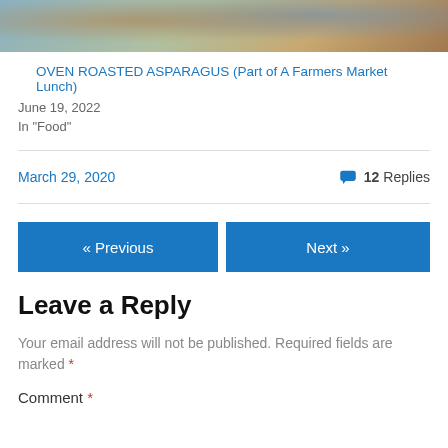[Figure (photo): Top portion of a food photo showing a colorful dish (asparagus), partially visible at top of page]
OVEN ROASTED ASPARAGUS (Part of A Farmers Market Lunch)
June 19, 2022
In "Food"
March 29, 2020
💬 12 Replies
« Previous
Next »
Leave a Reply
Your email address will not be published. Required fields are marked *
Comment *